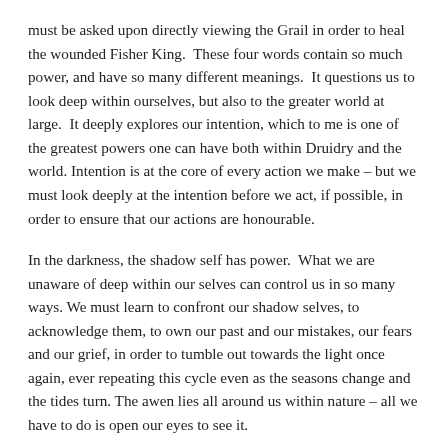must be asked upon directly viewing the Grail in order to heal the wounded Fisher King.  These four words contain so much power, and have so many different meanings.  It questions us to look deep within ourselves, but also to the greater world at large.  It deeply explores our intention, which to me is one of the greatest powers one can have both within Druidry and the world. Intention is at the core of every action we make – but we must look deeply at the intention before we act, if possible, in order to ensure that our actions are honourable.
In the darkness, the shadow self has power.  What we are unaware of deep within our selves can control us in so many ways. We must learn to confront our shadow selves, to acknowledge them, to own our past and our mistakes, our fears and our grief, in order to tumble out towards the light once again, ever repeating this cycle even as the seasons change and the tides turn. The awen lies all around us within nature – all we have to do is open our eyes to see it.